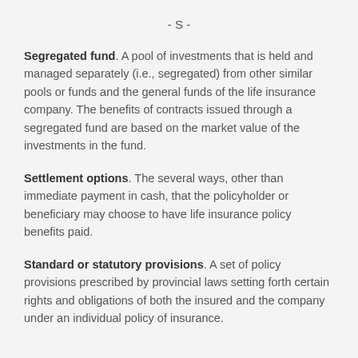- S -
Segregated fund. A pool of investments that is held and managed separately (i.e., segregated) from other similar pools or funds and the general funds of the life insurance company. The benefits of contracts issued through a segregated fund are based on the market value of the investments in the fund.
Settlement options. The several ways, other than immediate payment in cash, that the policyholder or beneficiary may choose to have life insurance policy benefits paid.
Standard or statutory provisions. A set of policy provisions prescribed by provincial laws setting forth certain rights and obligations of both the insured and the company under an individual policy of insurance.